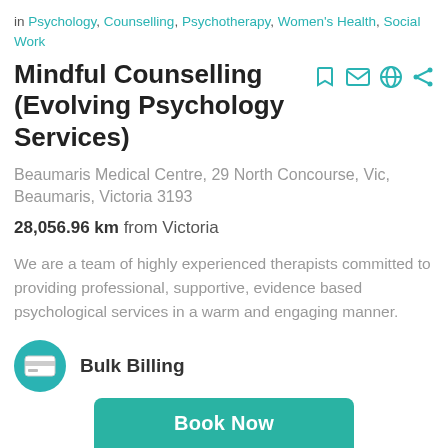in Psychology, Counselling, Psychotherapy, Women's Health, Social Work
Mindful Counselling (Evolving Psychology Services)
Beaumaris Medical Centre, 29 North Concourse, Vic, Beaumaris, Victoria 3193
28,056.96 km from Victoria
We are a team of highly experienced therapists committed to providing professional, supportive, evidence based psychological services in a warm and engaging manner.
Bulk Billing
Book Now